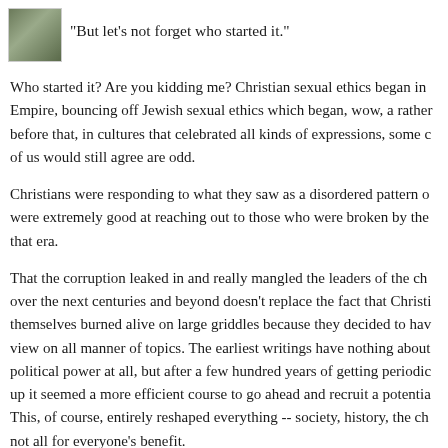"But let's not forget who started it."
Who started it? Are you kidding me? Christian sexual ethics began in Empire, bouncing off Jewish sexual ethics which began, wow, a rather before that, in cultures that celebrated all kinds of expressions, some of us would still agree are odd.
Christians were responding to what they saw as a disordered pattern o were extremely good at reaching out to those who were broken by the that era.
That the corruption leaked in and really mangled the leaders of the ch over the next centuries and beyond doesn't replace the fact that Christi themselves burned alive on large griddles because they decided to hav view on all manner of topics. The earliest writings have nothing about political power at all, but after a few hundred years of getting periodic up it seemed a more efficient course to go ahead and recruit a potentia This, of course, entirely reshaped everything -- society, history, the ch not all for everyone's benefit.